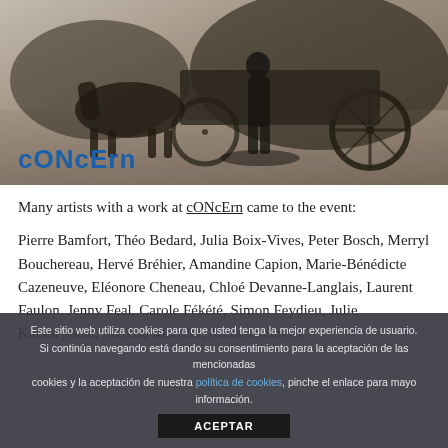[Figure (photo): Black and white historical photograph showing a horse-drawn cart on a street, with a person standing nearby. The word 'cONcErn' is overlaid in blue bold text at the bottom left of the image.]
Many artists with a work at cONcErn came to the event:
Pierre Bamfort, Théo Bedard, Julia Boix-Vives, Peter Bosch, Merryl Bouchereau, Hervé Bréhier, Amandine Capion, Marie-Bénédicte Cazeneuve, Eléonore Cheneau, Chloé Devanne-Langlais, Laurent Faulon, Jenny Feal, Carole Fékété, Simon Feydieu, Julie Karabeguian, Mélissa Mariller, Anita Molinero,
Este sitio web utiliza cookies para que usted tenga la mejor experiencia de usuario. Si continúa navegando está dando su consentimiento para la aceptación de las mencionadas cookies y la aceptación de nuestra política de cookies, pinche el enlace para mayor información.
ACEPTAR